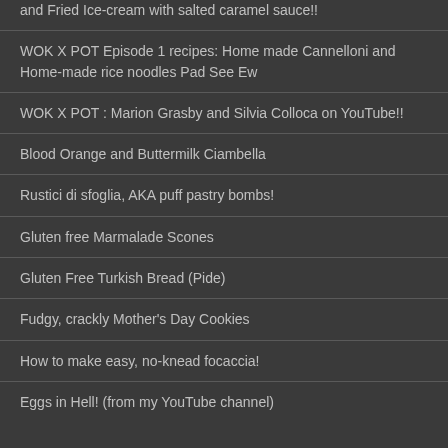and Fried Ice-cream with salted caramel sauce!!
WOK X POT Episode 1 recipes: Home made Cannelloni and Home-made rice noodles Pad See Ew
WOK X POT : Marion Grasby and Silvia Colloca on YouTube!!
Blood Orange and Buttermilk Ciambella
Rustici di sfoglia, AKA puff pastry bombs!
Gluten free Marmalade Scones
Gluten Free Turkish Bread (Pide)
Fudgy, crackly Mother's Day Cookies
How to make easy, no-knead focaccia!
Eggs in Hell! (from my YouTube channel)